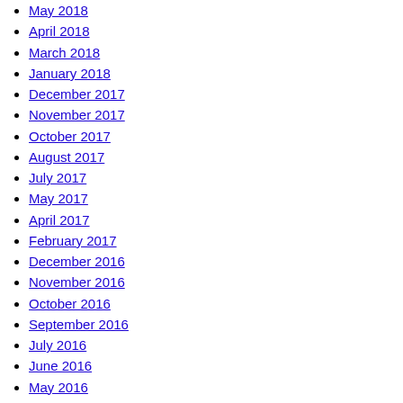May 2018
April 2018
March 2018
January 2018
December 2017
November 2017
October 2017
August 2017
July 2017
May 2017
April 2017
February 2017
December 2016
November 2016
October 2016
September 2016
July 2016
June 2016
May 2016
April 2016